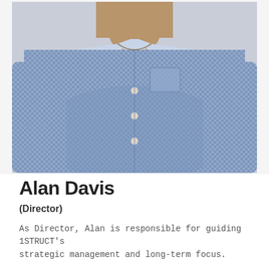[Figure (photo): Headshot photo of Alan Davis, a man wearing a blue checkered button-up shirt, photographed from the chest up against a neutral background.]
Alan Davis
(Director)
As Director, Alan is responsible for guiding 1STRUCT's strategic management and long-term focus.